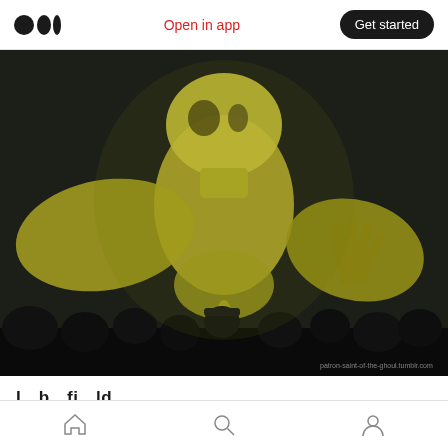Medium logo | Open in app | Get started
[Figure (photo): A large golden/yellow alien or monster figure with outstretched arms, illuminated against a dark background. Silhouettes of an audience are visible at the bottom. A watermark reads 'patron-saint-of-the-ghoul.tumblr.com'.]
I…b…fi…ld…
Home | Search | Profile navigation icons